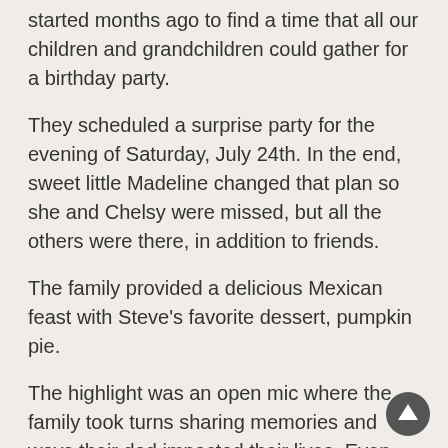started months ago to find a time that all our children and grandchildren could gather for a birthday party.
They scheduled a surprise party for the evening of Saturday, July 24th. In the end, sweet little Madeline changed that plan so she and Chelsy were missed, but all the others were there, in addition to friends.
The family provided a delicious Mexican feast with Steve's favorite dessert, pumpkin pie.
The highlight was an open mic where the family took turns sharing memories and ways their dad impacted their lives. Even Chelsy joined us via Facetime to share with Dad.
There was laughter with the memories, but the other things that were talked about made it very evident that Jesus Christ changes lives, and all gratitude, praise, and glory go to Him.